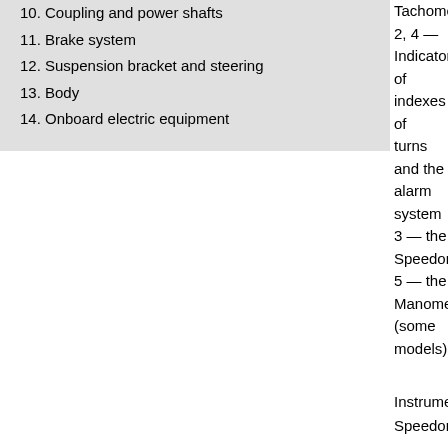10. Coupling and power shafts
11. Brake system
12. Suspension bracket and steering
13. Body
14. Onboard electric equipment
Tachometer
2, 4 — Indicators of indexes of turns and the alarm system
3 — the Speedometer
5 — the Manometer (some models)
Instrumentation
Speedometer